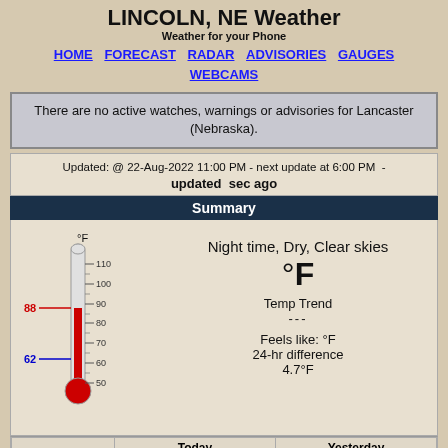LINCOLN, NE Weather
Weather for your Phone
HOME  FORECAST  RADAR  ADVISORIES  GAUGES  WEBCAMS
There are no active watches, warnings or advisories for Lancaster (Nebraska).
Updated: @ 22-Aug-2022 11:00 PM - next update at 6:00 PM  -  updated  sec ago
Summary
[Figure (other): Thermometer graphic showing temperature scale from 50 to 110 °F. Red mercury level at 88°F high marked in red, 62°F low marked in blue.]
Night time, Dry, Clear skies
°F
Temp Trend
---
Feels like: °F
24-hr difference
4.7°F
|  | Today | Yesterday |
| --- | --- | --- |
| High | 88.0°F @ 3:24 PM | 86.2°F @ 4:39 PM |
| Low | 61.5°F @ 7:09 AM | 60.3°F @ 6:59 AM |
Averages/Records